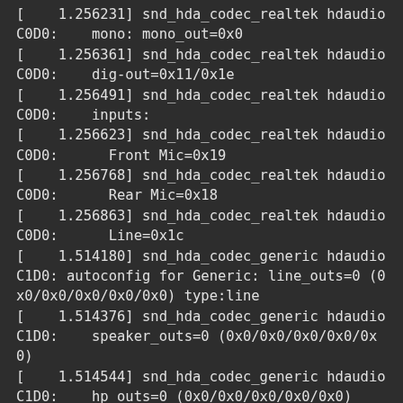[    1.256231] snd_hda_codec_realtek hdaudioC0D0:    mono: mono_out=0x0
[    1.256361] snd_hda_codec_realtek hdaudioC0D0:    dig-out=0x11/0x1e
[    1.256491] snd_hda_codec_realtek hdaudioC0D0:    inputs:
[    1.256623] snd_hda_codec_realtek hdaudioC0D0:      Front Mic=0x19
[    1.256768] snd_hda_codec_realtek hdaudioC0D0:      Rear Mic=0x18
[    1.256863] snd_hda_codec_realtek hdaudioC0D0:      Line=0x1c
[    1.514180] snd_hda_codec_generic hdaudioC1D0: autoconfig for Generic: line_outs=0 (0x0/0x0/0x0/0x0/0x0) type:line
[    1.514376] snd_hda_codec_generic hdaudioC1D0:    speaker_outs=0 (0x0/0x0/0x0/0x0/0x0)
[    1.514544] snd_hda_codec_generic hdaudioC1D0:    hp_outs=0 (0x0/0x0/0x0/0x0/0x0)